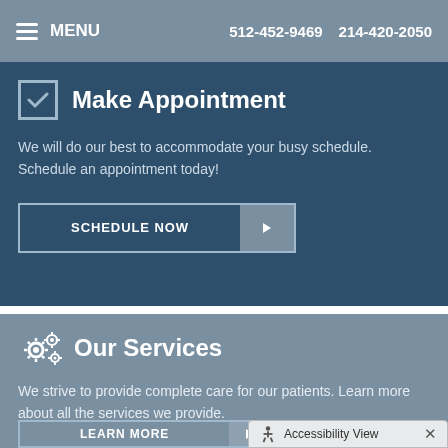MENU  512-452-9469  214-420-2050
Make Appointment
We will do our best to accommodate your busy schedule. Schedule an appointment today!
SCHEDULE NOW
Our Services
We strive to provide complete care for our patients. Learn more about all the services we provide.
LEARN MORE
Accessibility View